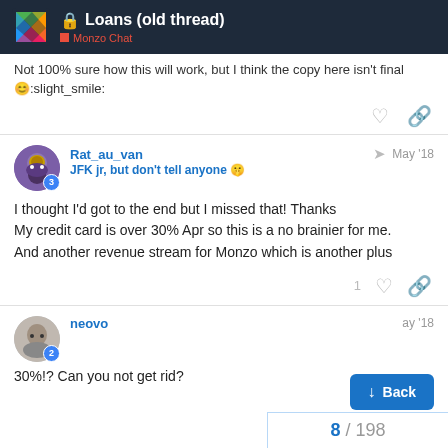Loans (old thread) — Monzo Chat
Not 100% sure how this will work, but I think the copy here isn't final :slight_smile:
Rat_au_van
JFK jr, but don't tell anyone 🤫
May '18
I thought I'd got to the end but I missed that! Thanks
My credit card is over 30% Apr so this is a no brainier for me.
And another revenue stream for Monzo which is another plus
neovo
May '18
30%!? Can you not get rid?